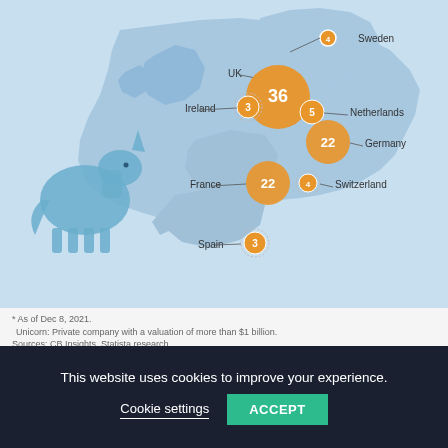[Figure (map): Map of Europe showing unicorn company counts by country. UK leads with 36 (large orange bubble), France 22, Germany 22, Netherlands 5, Ireland 3, Spain 3, Sweden 4 (small bubble), Switzerland 4. Unicorn silhouette on left. Statista branding. Footnote: As of Dec 8, 2021. Unicorn: Private company with a valuation of more than $1 billion. Sources: CB Insights, Statista research.]
(Image Source: Statista)
As you can see here, the UK is currently home to the continent's most unicorn stables.